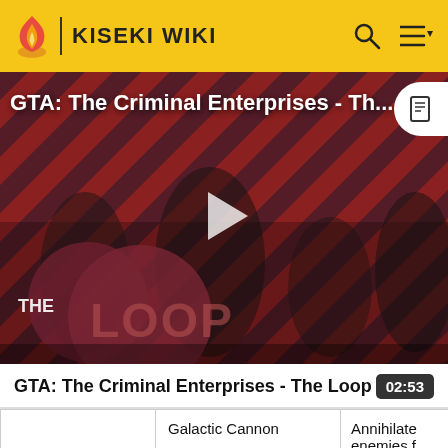KISEKI WIKI
[Figure (screenshot): Video thumbnail for 'GTA: The Criminal Enterprises - The Loop' showing game characters on a red diagonal-striped background with The Loop logo overlay and a play button in the center.]
GTA: The Criminal Enterprises - The Loop
02:53
|  | Galactic Cannon
🟫🟫🟫🟫🟫🟫🟫🟫 | Annihilate enemies from orbit with laser beam... |
| --- | --- | --- |